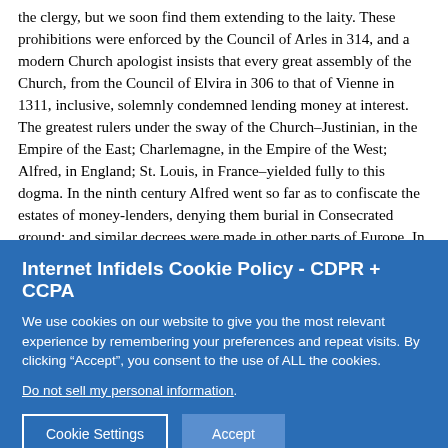the clergy, but we soon find them extending to the laity. These prohibitions were enforced by the Council of Arles in 314, and a modern Church apologist insists that every great assembly of the Church, from the Council of Elvira in 306 to that of Vienne in 1311, inclusive, solemnly condemned lending money at interest. The greatest rulers under the sway of the Church–Justinian, in the Empire of the East; Charlemagne, in the Empire of the West; Alfred, in England; St. Louis, in France–yielded fully to this dogma. In the ninth century Alfred went so far as to confiscate the estates of money-lenders, denying them burial in Consecrated ground; and similar decrees were made in other parts of Europe. In the twelfth century the Greek Church seems to have relaxed its strictness somewhat, but the Roman Church grew more severe. St. Anselm proved from the Scriptures that
Internet Infidels Cookie Policy - CDPR + CCPA
We use cookies on our website to give you the most relevant experience by remembering your preferences and repeat visits. By clicking “Accept”, you consent to the use of ALL the cookies.
Do not sell my personal information.